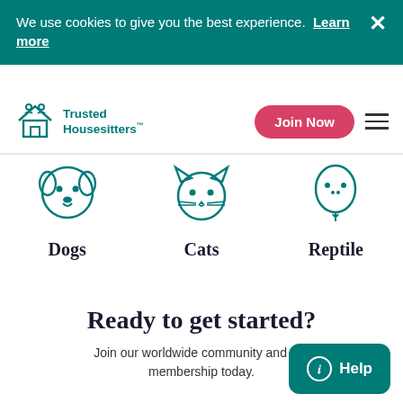We use cookies to give you the best experience.  Learn more
[Figure (logo): Trusted Housesitters logo with icon of people and a house]
[Figure (illustration): Teal outline illustration of a dog face icon]
Dogs
[Figure (illustration): Teal outline illustration of a cat face icon]
Cats
[Figure (illustration): Teal outline illustration of a reptile/snake face icon (partially cut off)]
Reptile
Ready to get started?
Join our worldwide community and s… membership today.